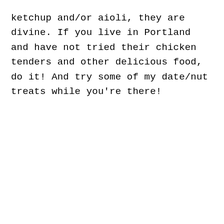ketchup and/or aioli, they are divine. If you live in Portland and have not tried their chicken tenders and other delicious food, do it! And try some of my date/nut treats while you're there!